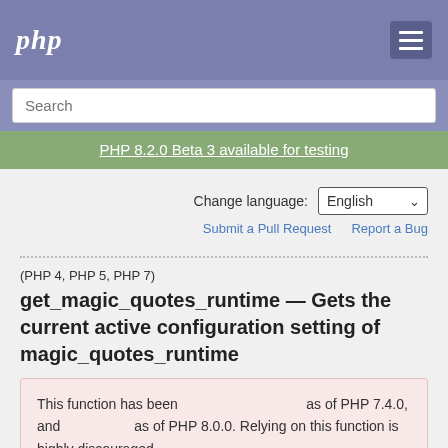php
Search
PHP 8.2.0 Beta 3 available for testing
Change language: English
Submit a Pull Request   Report a Bug
(PHP 4, PHP 5, PHP 7)
get_magic_quotes_runtime — Gets the current active configuration setting of magic_quotes_runtime
This function has been as of PHP 7.4.0, and as of PHP 8.0.0. Relying on this function is highly discouraged.